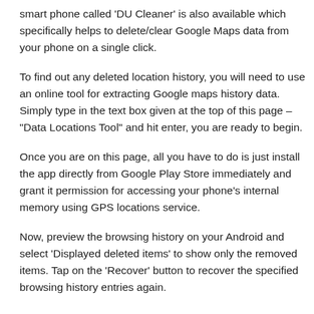smart phone called ‘DU Cleaner’ is also available which specifically helps to delete/clear Google Maps data from your phone on a single click.
To find out any deleted location history, you will need to use an online tool for extracting Google maps history data. Simply type in the text box given at the top of this page – “Data Locations Tool” and hit enter, you are ready to begin.
Once you are on this page, all you have to do is just install the app directly from Google Play Store immediately and grant it permission for accessing your phone’s internal memory using GPS locations service.
Now, preview the browsing history on your Android and select ‘Displayed deleted items’ to show only the removed items. Tap on the ‘Recover’ button to recover the specified browsing history entries again.